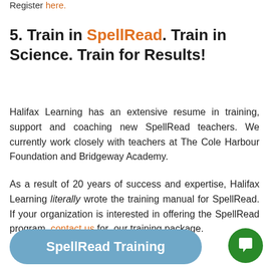Register here.
5. Train in SpellRead. Train in Science. Train for Results!
Halifax Learning has an extensive resume in training, support and coaching new SpellRead teachers. We currently work closely with teachers at The Cole Harbour Foundation and Bridgeway Academy.
As a result of 20 years of success and expertise, Halifax Learning literally wrote the training manual for SpellRead. If your organization is interested in offering the SpellRead program, contact us for our training package.
SpellRead Training